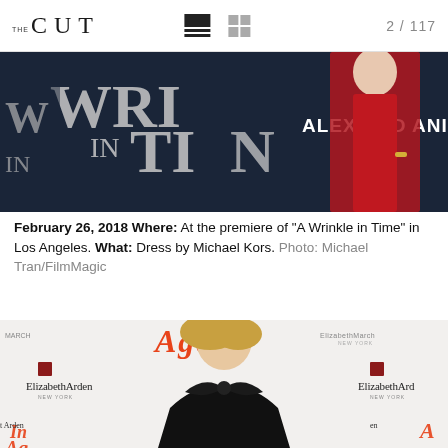THE CUT  2 / 117
[Figure (photo): Red carpet photo showing a figure in a red sequined dress against a dark backdrop with 'A Wrinkle in Time' and 'Alex and Ani' signage]
February 26, 2018 Where: At the premiere of "A Wrinkle in Time" in Los Angeles. What: Dress by Michael Kors. Photo: Michael Tran/FilmMagic
[Figure (photo): Reese Witherspoon in a black strapless bow dress posing at an Elizabeth Arden event with 'Again' branding backdrop]